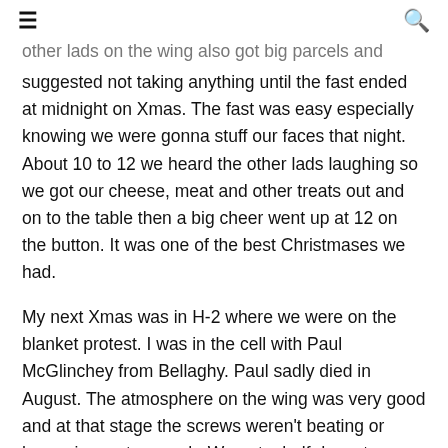≡   🔍
other lads on the wing also got big parcels and someone suggested not taking anything until the fast ended at midnight on Xmas. The fast was easy especially knowing we were gonna stuff our faces that night. About 10 to 12 we heard the other lads laughing so we got our cheese, meat and other treats out and on to the table then a big cheer went up at 12 on the button. It was one of the best Christmases we had.
My next Xmas was in H-2 where we were on the blanket protest. I was in the cell with Paul McGlinchey from Bellaghy. Paul sadly died in August. The atmosphere on the wing was very good and at that stage the screws weren't beating or harassing us too much. We got a half decent breakfast of weetabix, fried soda, egg and bacon